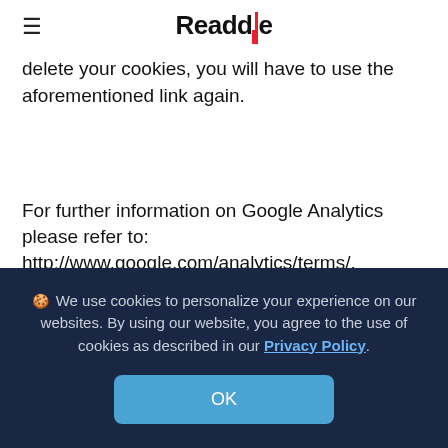Readdle
set it and with regard to the WWW server. In this case and out cookie is present. In case you delete your cookies, you will have to use the aforementioned link again.
For further information on Google Analytics please refer to: http://www.google.com/analytics/terms/, https://support.google.com/analytics/answer/6004245?hl=en and https://policies.google.com/privacy?hl=en&gl=en
3.3 In order to better understand general usage
🍪 We use cookies to personalize your experience on our websites. By using our website, you agree to the use of cookies as described in our Privacy Policy.
OK